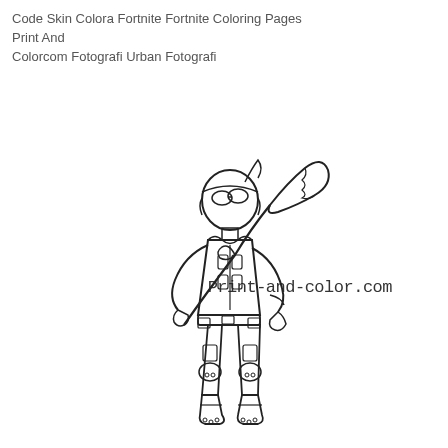Code Skin Colora Fortnite Fortnite Coloring Pages Print And Colorcom Fotografi Urban Fotografi
[Figure (illustration): Black and white coloring page illustration of a Fortnite character (urban/alpine skin) holding a pickaxe over their shoulder, wearing goggles, tactical vest, belt, cargo pants, and knee pads. The character is in a dynamic pose. Watermark text 'Print-and-color.com' appears in the upper right area.]